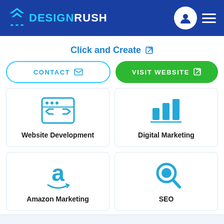DESIGNRUSH
Click and Create
CONTACT
VISIT WEBSITE
[Figure (illustration): Website Development icon: browser window with code tags]
Website Development
[Figure (illustration): Digital Marketing icon: bar chart]
Digital Marketing
[Figure (illustration): Amazon Marketing icon: Amazon 'a' logo with smile arrow]
Amazon Marketing
[Figure (illustration): SEO icon: magnifying glass]
SEO